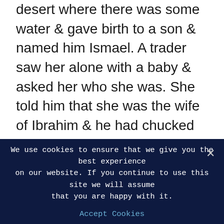desert where there was some water & gave birth to a son & named him Ismael. A trader saw her alone with a baby & asked her who she was. She told him that she was the wife of Ibrahim & he had chucked her out of their house. When Ismael was born & he moved his hands & feet, a spring of water erupted from the ground below. This spring is called Chahe Jumjum (Chahe means Well in Arabic). The trader told Hazira that he would give her a monthly pay & she should offer water to all the traders & other travelers who are passing by as a good deed. The trader's name was Makih. Since water
We use cookies to ensure that we give you the best experience on our website. If you continue to use this site we will assume that you are happy with it.
Accept Cookies